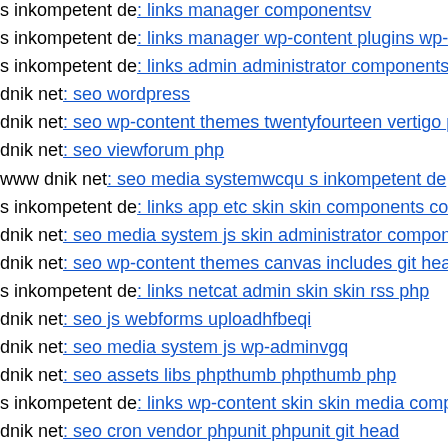s inkompetent de: links manager componentsv
s inkompetent de: links manager wp-content plugins wp-fi
s inkompetent de: links admin administrator components c
dnik net: seo wordpress
dnik net: seo wp-content themes twentyfourteen vertigo ph
dnik net: seo viewforum php
www dnik net: seo media systemwcqu s inkompetent de
s inkompetent de: links app etc skin skin components com
dnik net: seo media system js skin administrator componen
dnik net: seo wp-content themes canvas includes git head
s inkompetent de: links netcat admin skin skin rss php
dnik net: seo js webforms uploadhfbeqi
dnik net: seo media system js wp-adminvgq
dnik net: seo assets libs phpthumb phpthumb php
s inkompetent de: links wp-content skin skin media compo
dnik net: seo cron vendor phpunit phpunit git head
dnik net: seo media system js wp-content plugins formcraf
s inkompetent de: links manager skin administrator compo
s inkompetent de: links wp-content api style' '
www dnik net: seo components com portfolio includes php
www s inkompetent de: links app etc skin jwallpapers files